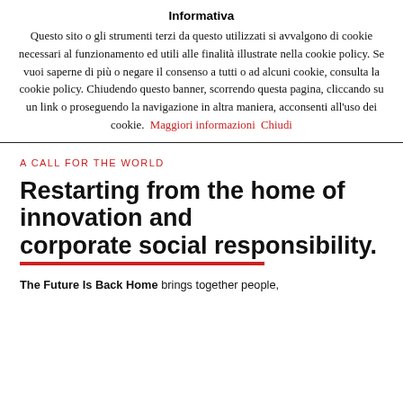Informativa
Questo sito o gli strumenti terzi da questo utilizzati si avvalgono di cookie necessari al funzionamento ed utili alle finalità illustrate nella cookie policy. Se vuoi saperne di più o negare il consenso a tutti o ad alcuni cookie, consulta la cookie policy. Chiudendo questo banner, scorrendo questa pagina, cliccando su un link o proseguendo la navigazione in altra maniera, acconsenti all'uso dei cookie.  Maggiori informazioni  Chiudi
A CALL FOR THE WORLD
Restarting from the home of innovation and corporate social responsibility.
The Future Is Back Home brings together people,